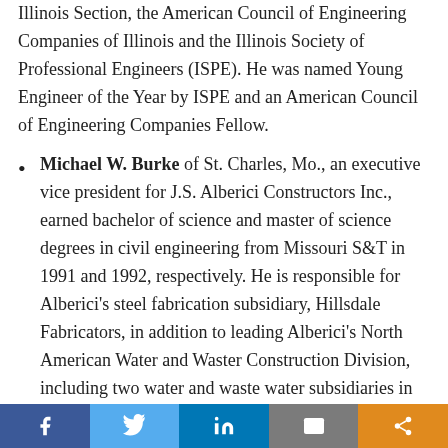Illinois Section, the American Council of Engineering Companies of Illinois and the Illinois Society of Professional Engineers (ISPE). He was named Young Engineer of the Year by ISPE and an American Council of Engineering Companies Fellow.
Michael W. Burke of St. Charles, Mo., an executive vice president for J.S. Alberici Constructors Inc., earned bachelor of science and master of science degrees in civil engineering from Missouri S&T in 1991 and 1992, respectively. He is responsible for Alberici's steel fabrication subsidiary, Hillsdale Fabricators, in addition to leading Alberici's North American Water and Waster Construction Division, including two water and waste water subsidiaries in Atlanta and Topeka, Kan. Burke has worked on large projects in the U.S., Grand Bahama, Aruba, Portugal, Newfoundland, Saskatchewan and Alberta, Canada, with responsibilities for both design and project management. He was involved in the
Share bar with Facebook, Twitter, LinkedIn, Email, Share buttons